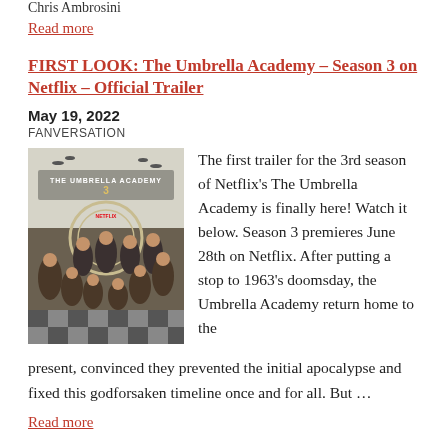Chris Ambrosini
Read more
FIRST LOOK: The Umbrella Academy – Season 3 on Netflix – Official Trailer
May 19, 2022
FANVERSATION
[Figure (photo): Promotional poster for The Umbrella Academy Season 3 on Netflix showing cast members posing together]
The first trailer for the 3rd season of Netflix's The Umbrella Academy is finally here! Watch it below. Season 3 premieres June 28th on Netflix. After putting a stop to 1963's doomsday, the Umbrella Academy return home to the present, convinced they prevented the initial apocalypse and fixed this godforsaken timeline once and for all. But …
Read more